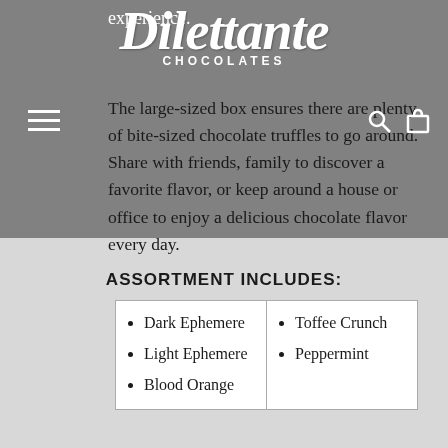Dilettante CHOCOLATES
experience.
The large-sized box ensures there are plenty of bite-sized chocolate truffles to go around. Share with friends, family to discover a favorite flavor, or keep around a house or office to enjoy a delicious chocolate flavor every day.
ASSORTMENT INCLUDES:
Dark Ephemere
Light Ephemere
Blood Orange
Toffee Crunch
Peppermint